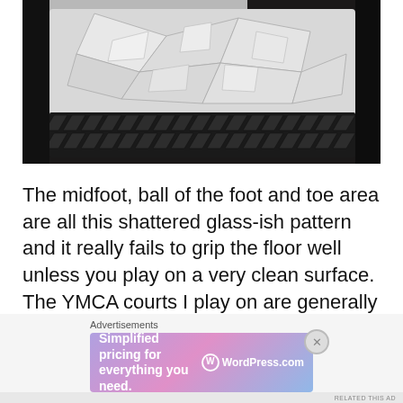[Figure (photo): Close-up photograph of a shoe sole showing a shattered glass-like geometric pattern in white/grey, with black herringbone tread along the bottom edge.]
The midfoot, ball of the foot and toe area are all this shattered glass-ish pattern and it really fails to grip the floor well unless you play on a very clean surface. The YMCA courts I play on are generally in average to good condition, but if there was any
Advertisements
[Figure (screenshot): WordPress.com advertisement banner with gradient purple-pink-blue background. Text reads: Simplified pricing for everything you need. WordPress.com logo on right side.]